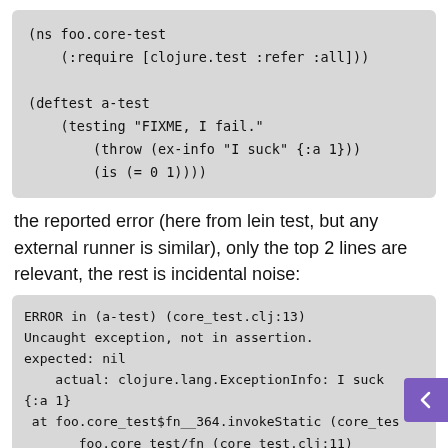[Figure (screenshot): Code block showing Clojure test namespace definition with deftest a-test containing testing, throw, and is assertions]
the reported error (here from lein test, but any external runner is similar), only the top 2 lines are relevant, the rest is incidental noise:
[Figure (screenshot): Error output block showing ERROR in (a-test) (core_test.clj:13), Uncaught exception not in assertion, expected: nil, actual: clojure.lang.ExceptionInfo: I suck {:a 1}, stack trace lines]